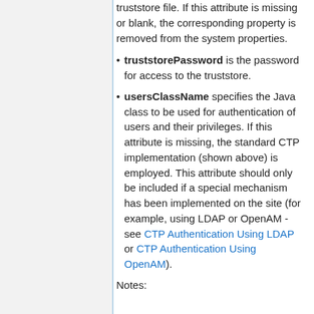truststorePassword is the password for access to the truststore.
usersClassName specifies the Java class to be used for authentication of users and their privileges. If this attribute is missing, the standard CTP implementation (shown above) is employed. This attribute should only be included if a special mechanism has been implemented on the site (for example, using LDAP or OpenAM - see CTP Authentication Using LDAP or CTP Authentication Using OpenAM).
Notes: